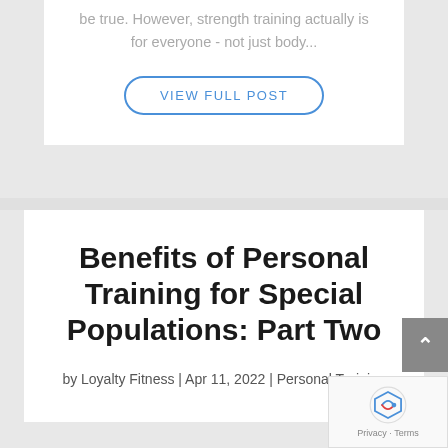be true. However, strength training actually is for everyone - not just body...
VIEW FULL POST
Benefits of Personal Training for Special Populations: Part Two
by Loyalty Fitness | Apr 11, 2022 | Personal Training